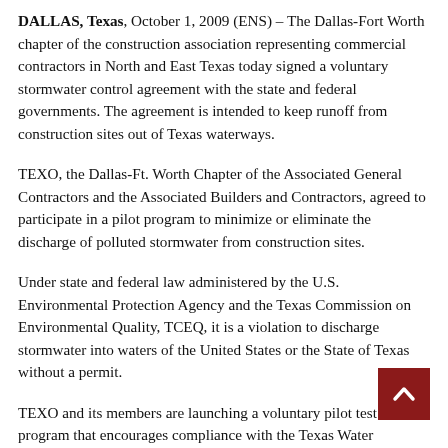DALLAS, Texas, October 1, 2009 (ENS) – The Dallas-Fort Worth chapter of the construction association representing commercial contractors in North and East Texas today signed a voluntary stormwater control agreement with the state and federal governments. The agreement is intended to keep runoff from construction sites out of Texas waterways.
TEXO, the Dallas-Ft. Worth Chapter of the Associated General Contractors and the Associated Builders and Contractors, agreed to participate in a pilot program to minimize or eliminate the discharge of polluted stormwater from construction sites.
Under state and federal law administered by the U.S. Environmental Protection Agency and the Texas Commission on Environmental Quality, TCEQ, it is a violation to discharge stormwater into waters of the United States or the State of Texas without a permit.
TEXO and its members are launching a voluntary pilot test of a program that encourages compliance with the Texas Water